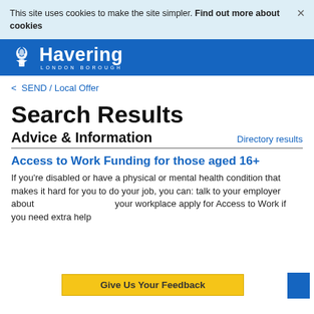This site uses cookies to make the site simpler. Find out more about cookies ×
[Figure (logo): Havering London Borough logo — white eagle crest and 'Havering LONDON BOROUGH' text on blue background]
< SEND / Local Offer
Search Results
Advice & Information
Directory results
Access to Work Funding for those aged 16+
If you're disabled or have a physical or mental health condition that makes it hard for you to do your job, you can: talk to your employer about ... your workplace apply for Access to Work if you need extra help